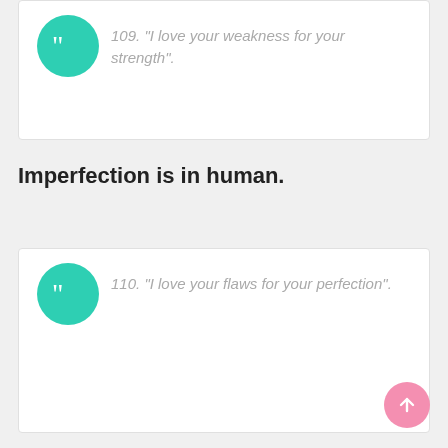109. “I love your weakness for your strength”.
Imperfection is in human.
110. “I love your flaws for your perfection”.